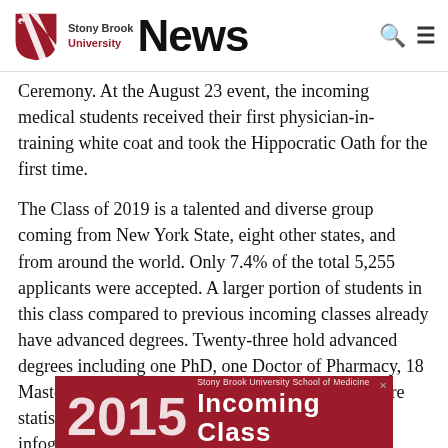Stony Brook University News
Ceremony. At the August 23 event, the incoming medical students received their first physician-in-training white coat and took the Hippocratic Oath for the first time.
The Class of 2019 is a talented and diverse group coming from New York State, eight other states, and from around the world. Only 7.4% of the total 5,255 applicants were accepted. A larger portion of students in this class compared to previous incoming classes already have advanced degrees. Twenty-three hold advanced degrees including one PhD, one Doctor of Pharmacy, 18 Masters and three Masters in Public Health. For more statistical information about the class, see this infographic:
[Figure (infographic): 2015 Stony Brook University School of Medicine Incoming Class infographic banner in red/maroon color]